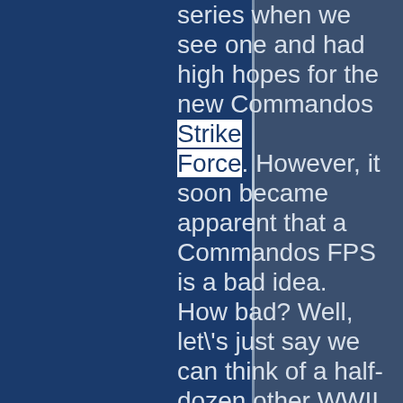series when we see one and had high hopes for the new Commandos Strike Force. However, it soon became apparent that a Commandos FPS is a bad idea. How bad? Well, let's just say we can think of a half-dozen other WWII shooters we'd play before